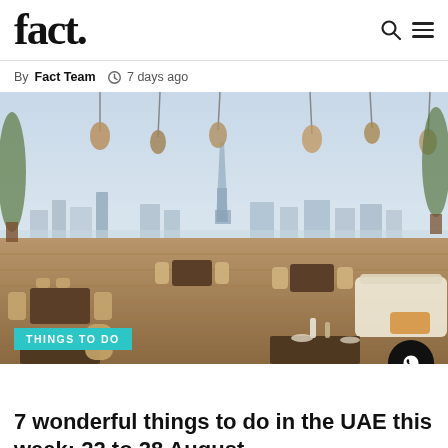fact.
By Fact Team  7 days ago
[Figure (photo): Rooftop restaurant terrace with rattan chairs, hanging pendant lights, and a panoramic view of the Dubai skyline including the Burj Khalifa in the background.]
THINGS TO DO
7 wonderful things to do in the UAE this week: 22 to 28 August